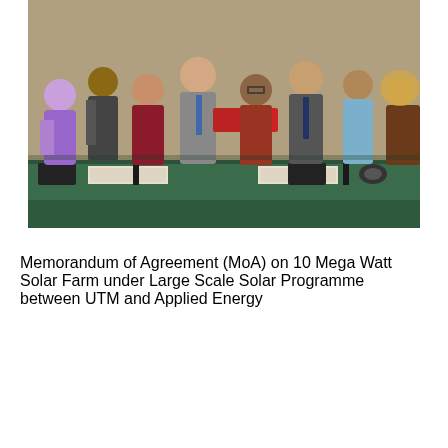[Figure (photo): Group photograph of approximately eight people standing behind a table with a green tablecloth during a formal signing ceremony. Two central figures are shaking hands and exchanging red document folders. Name placards and UTM-branded items are on the table. The background shows curtains and a flag.]
Memorandum of Agreement (MoA) on 10 Mega Watt Solar Farm under Large Scale Solar Programme between UTM and Applied Energy